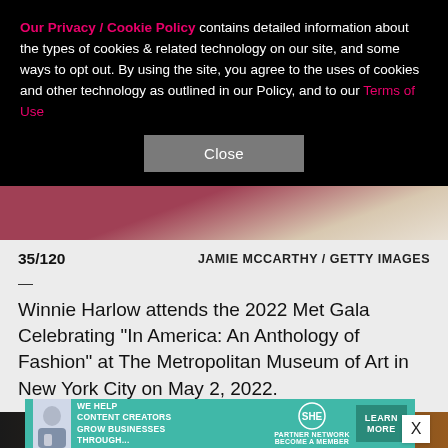Our Privacy / Cookie Policy contains detailed information about the types of cookies & related technology on our site, and some ways to opt out. By using the site, you agree to the uses of cookies and other technology as outlined in our Policy, and to our Terms of Use
Close
[Figure (photo): Partial photo showing reddish-pink and beige fabric or background, cropped]
35/120
JAMIE MCCARTHY / GETTY IMAGES
—
Winnie Harlow attends the 2022 Met Gala Celebrating "In America: An Anthology of Fashion" at The Metropolitan Museum of Art in New York City on May 2, 2022.
[Figure (photo): Partial photo at bottom of page showing dark and gold/amber background]
[Figure (infographic): Advertisement banner: SHE Media Partner Network - We Help Content Creators Grow Businesses Through... Learn More / Become a Member]